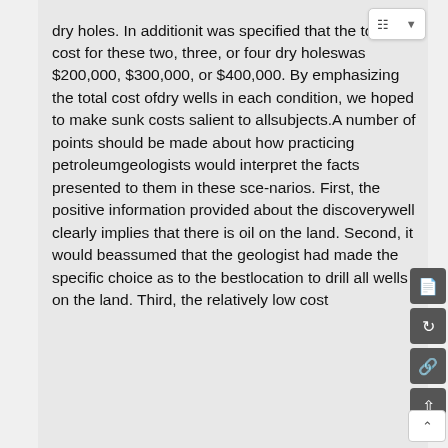dry holes. In additionit was specified that the total cost for these two, three, or four dry holeswas $200,000, $300,000, or $400,000. By emphasizing the total cost ofdry wells in each condition, we hoped to make sunk costs salient to allsubjects.A number of points should be made about how practicing petroleumgeologists would interpret the facts presented to them in these sce-narios. First, the positive information provided about the discoverywell clearly implies that there is oil on the land. Second, it would beassumed that the geologist had made the specific choice as to the bestlocation to drill all wells on the land. Third, the relatively low cost